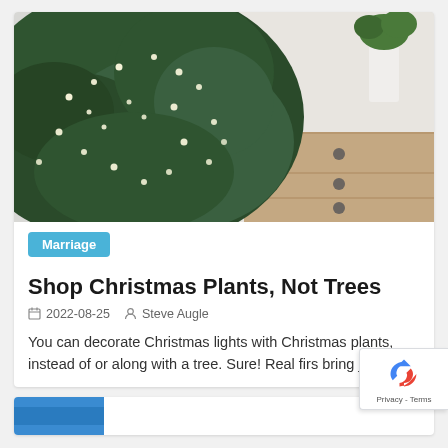[Figure (photo): Close-up photo of a green Christmas tree decorated with small warm white lights, with a wooden dresser and a white vase with greenery visible in the background.]
Marriage
Shop Christmas Plants, Not Trees
2022-08-25   Steve Augle
You can decorate Christmas lights with Christmas plants, instead of or along with a tree. Sure! Real firs bring joy